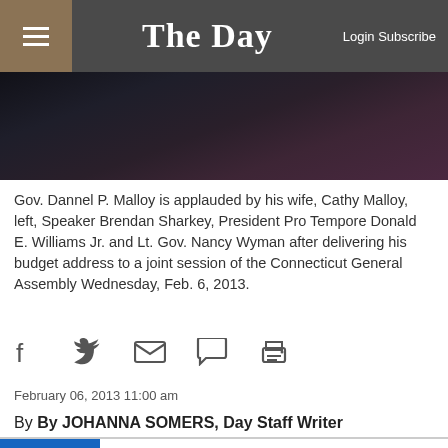The Day — Login Subscribe
[Figure (photo): Photo of Gov. Dannel P. Malloy being applauded — dark background, partial figures visible]
Gov. Dannel P. Malloy is applauded by his wife, Cathy Malloy, left, Speaker Brendan Sharkey, President Pro Tempore Donald E. Williams Jr. and Lt. Gov. Nancy Wyman after delivering his budget address to a joint session of the Connecticut General Assembly Wednesday, Feb. 6, 2013.
[Figure (infographic): Social sharing icons: Facebook, Twitter, Email, Comment, Print]
February 06, 2013 11:00 am
By By JOHANNA SOMERS, Day Staff Writer
[Figure (infographic): Advertisement: Sam's Club — Get all the perks with Plus. 2% Sam's Cash™. On qualifying purchases, up to $500/year. www.samsclub.com]